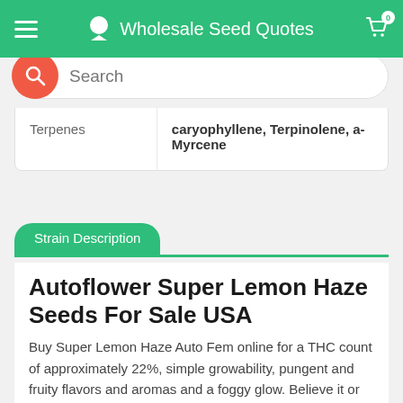Wholesale Seed Quotes
| Terpenes |  |
| --- | --- |
| Terpenes | caryophyllene, Terpinolene, a-Myrcene |
Strain Description
Autoflower Super Lemon Haze Seeds For Sale USA
Buy Super Lemon Haze Auto Fem online for a THC count of approximately 22%, simple growability, pungent and fruity flavors and aromas and a foggy glow. Believe it or not, these tiny yet impressive Auto-flowering Seeds are capable of producing 400-500g/m2 in the right environment. Growing like a weed outside, each seed has